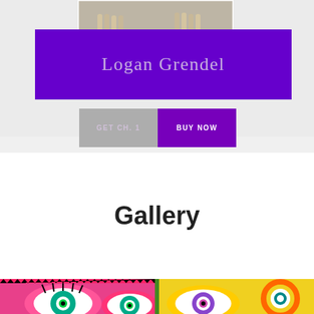[Figure (photo): Top portion of a book cover showing dog legs on a sidewalk, with a purple band overlaid containing the author name 'Logan Grendel']
[Figure (infographic): Two buttons side by side: gray 'GET CH. 1' button and purple 'BUY NOW' button]
Gallery
[Figure (photo): Colorful street mural with large stylized eyes, flowers, and bright patterns in pink, yellow, green, teal, and orange]